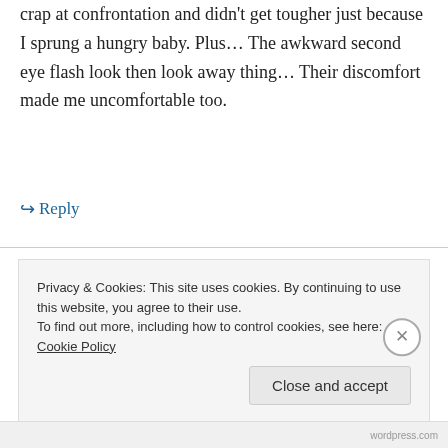crap at confrontation and didn't get tougher just because I sprung a hungry baby. Plus… The awkward second eye flash look then look away thing… Their discomfort made me uncomfortable too.
↳ Reply
Eleise @ A Very Blended Family on January 22, 2013 at 8:25 pm
Privacy & Cookies: This site uses cookies. By continuing to use this website, you agree to their use. To find out more, including how to control cookies, see here: Cookie Policy
Close and accept